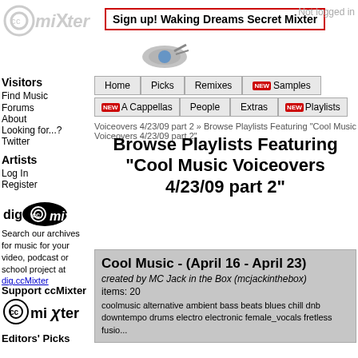[Figure (logo): ccMixter logo - CC symbol with stylized 'mixter' text, greyed out watermark style]
Sign up! Waking Dreams Secret Mixter
Not logged in
[Figure (illustration): Whistle/megaphone icon]
Home | Picks | Remixes | NEW Samples | NEW A Cappellas | People | Extras | NEW Playlists
Voiceovers 4/23/09 part 2 » Browse Playlists Featuring "Cool Music Voiceovers 4/23/09 part 2"
Visitors
Find Music
Forums
About
Looking for...?
Twitter
Artists
Log In
Register
[Figure (logo): dig ccMixter logo - oval shaped logo with CC symbol]
Search our archives for music for your video, podcast or school project at dig.ccMixter
Support ccMixter
[Figure (logo): ccMixter logo in black and white]
Editors' Picks
Browse Playlists Featuring "Cool Music Voiceovers 4/23/09 part 2"
Cool Music - (April 16 - April 23)
created by MC Jack in the Box (mcjackinthebox)
items: 20
coolmusic alternative ambient bass beats blues chill dnb downtempo drums electro electronic female_vocals fretless fusio...